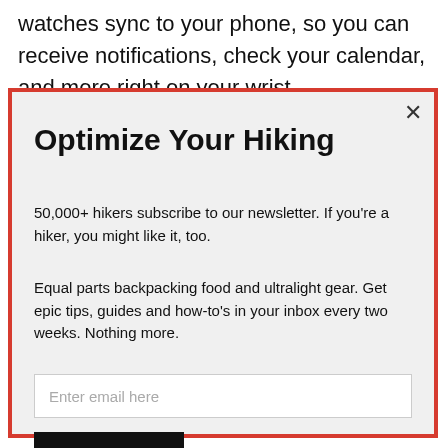watches sync to your phone, so you can receive notifications, check your calendar, and more right on your wrist.
[Figure (screenshot): A modal popup with red border containing a newsletter subscription call-to-action for hikers, with title 'Optimize Your Hiking', descriptive text, email input field, and a Subscribe button.]
Optimize Your Hiking
50,000+ hikers subscribe to our newsletter. If you're a hiker, you might like it, too.
Equal parts backpacking food and ultralight gear. Get epic tips, guides and how-to's in your inbox every two weeks. Nothing more.